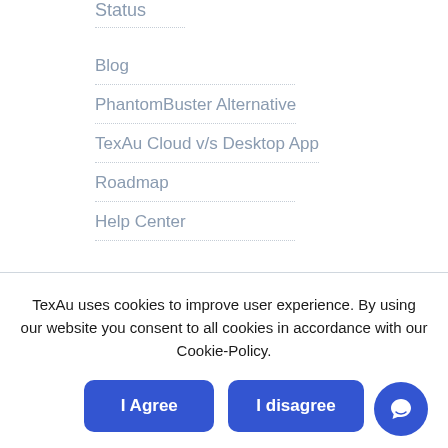Status
Blog
PhantomBuster Alternative
TexAu Cloud v/s Desktop App
Roadmap
Help Center
TexAu uses cookies to improve user experience. By using our website you consent to all cookies in accordance with our Cookie-Policy.
I Agree
I disagree